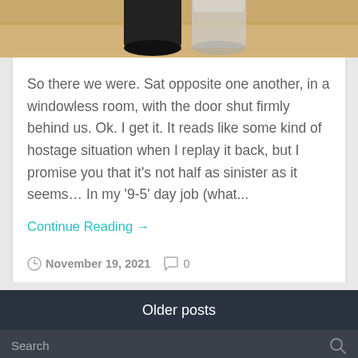[Figure (photo): Top portion of a photo showing two glass jars (black lid and clear lid) on a wooden surface, cropped at top of page]
So there we were. Sat opposite one another, in a windowless room, with the door shut firmly behind us. Ok. I get it. It reads like some kind of hostage situation when I replay it back, but I promise you that it's not half as sinister as it seems… In my '9-5' day job (what...
Continue Reading →
November 19, 2021   0
Older posts
Search